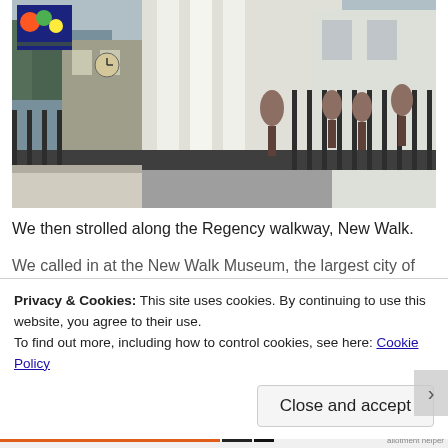[Figure (photo): Photograph of a Regency-era building with tall white columns and ornate iron fencing with decorative finials in the foreground. A billboard is visible on the left side showing colorful imagery. Trees and other buildings visible in the background.]
We then strolled along the Regency walkway, New Walk.
Privacy & Cookies: This site uses cookies. By continuing to use this website, you agree to their use.
To find out more, including how to control cookies, see here: Cookie Policy
Close and accept